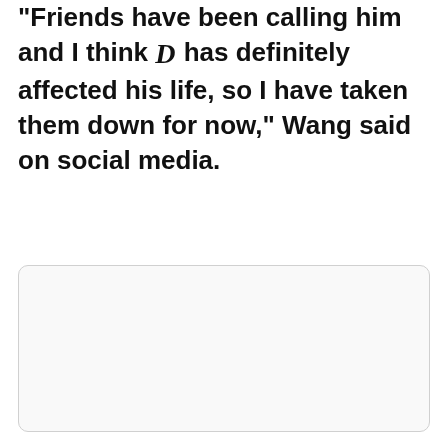"Friends have been calling him and I think [D] has definitely affected his life, so I have taken them down for now," Wang said on social media.
[Figure (other): A rounded rectangle image placeholder box with light gray border and white/light background, no content visible.]